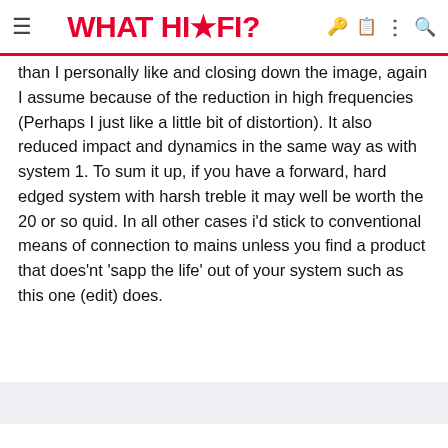≡  WHAT HI·FI?  🔑 📋 ⋮ 🔍
than I personally like and closing down the image, again I assume because of the reduction in high frequencies (Perhaps I just like a little bit of distortion). It also reduced impact and dynamics in the same way as with system 1. To sum it up, if you have a forward, hard edged system with harsh treble it may well be worth the 20 or so quid. In all other cases i'd stick to conventional means of connection to mains unless you find a product that does'nt 'sapp the life' out of your system such as this one (edit) does.